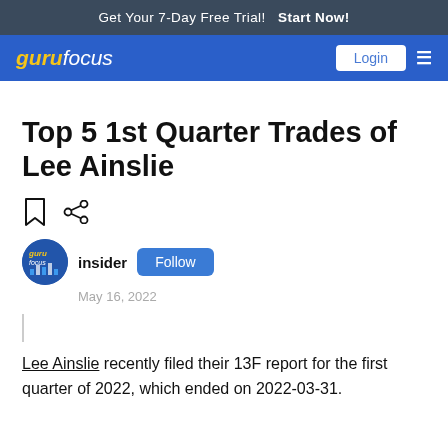Get Your 7-Day Free Trial!  Start Now!
gurufocus  Login
Top 5 1st Quarter Trades of Lee Ainslie
insider  Follow  May 16, 2022
Lee Ainslie recently filed their 13F report for the first quarter of 2022, which ended on 2022-03-31.